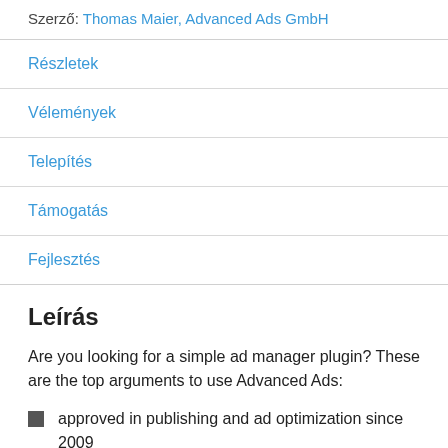Szerző: Thomas Maier, Advanced Ads GmbH
Részletek
Vélemények
Telepítés
Támogatás
Fejlesztés
Leírás
Are you looking for a simple ad manager plugin? These are the top arguments to use Advanced Ads:
approved in publishing and ad optimization since 2009